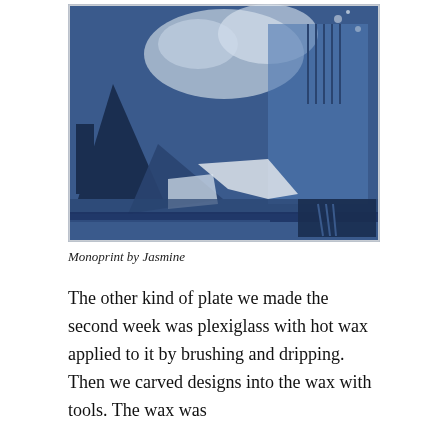[Figure (illustration): A monoprint artwork showing abstract blue and white shapes including triangles and organic forms, with a textured, collage-like quality. The image is primarily deep blue with white areas showing through.]
Monoprint by Jasmine
The other kind of plate we made the second week was plexiglass with hot wax applied to it by brushing and dripping. Then we carved designs into the wax with tools. The wax was